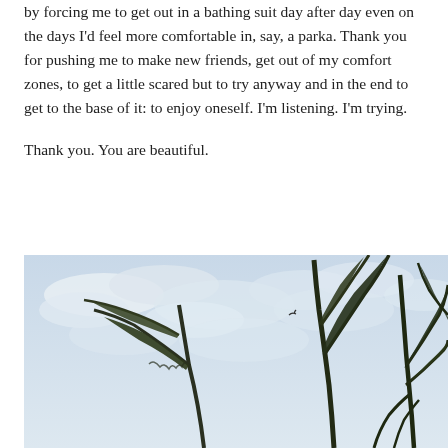by forcing me to get out in a bathing suit day after day even on the days I'd feel more comfortable in, say, a parka. Thank you for pushing me to make new friends, get out of my comfort zones, to get a little scared but to try anyway and in the end to get to the base of it: to enjoy oneself. I'm listening. I'm trying.
Thank you. You are beautiful.
[Figure (photo): Photograph taken from below looking up at tropical banana/palm tree leaves against a partly cloudy blue-grey sky. The leaves are dark green and the sky is light blue-white with scattered clouds.]